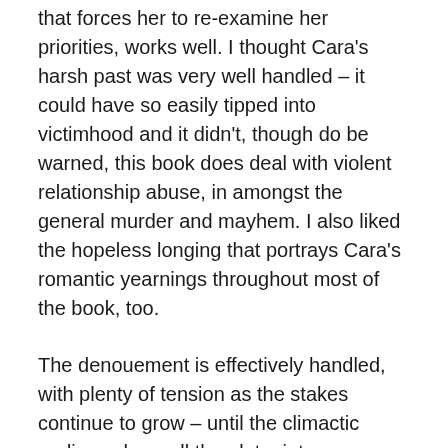that forces her to re-examine her priorities, works well. I thought Cara's harsh past was very well handled – it could have so easily tipped into victimhood and it didn't, though do be warned, this book does deal with violent relationship abuse, in amongst the general murder and mayhem. I also liked the hopeless longing that portrays Cara's romantic yearnings throughout most of the book, too.
The denouement is effectively handled, with plenty of tension as the stakes continue to grow – until the climactic ending, where all the plotpoints are satisfactorily tied up. Overall, this is a really strong debut novel and Micaiah Johnson is certainly One To Watch. Recommended for fans of multiverse science fiction in a near-future era. While I obtained an arc of The Space Between Worlds from Netgalley, the opinions I have expressed are unbiased and my own.